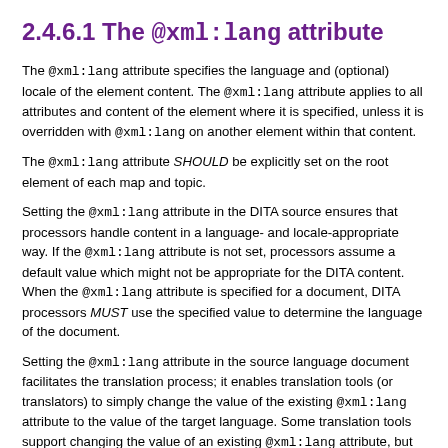2.4.6.1 The @xml:lang attribute
The @xml:lang attribute specifies the language and (optional) locale of the element content. The @xml:lang attribute applies to all attributes and content of the element where it is specified, unless it is overridden with @xml:lang on another element within that content.
The @xml:lang attribute SHOULD be explicitly set on the root element of each map and topic.
Setting the @xml:lang attribute in the DITA source ensures that processors handle content in a language- and locale-appropriate way. If the @xml:lang attribute is not set, processors assume a default value which might not be appropriate for the DITA content. When the @xml:lang attribute is specified for a document, DITA processors MUST use the specified value to determine the language of the document.
Setting the @xml:lang attribute in the source language document facilitates the translation process; it enables translation tools (or translators) to simply change the value of the existing @xml:lang attribute to the value of the target language. Some translation tools support changing the value of an existing @xml:lang attribute, but they do not support adding new markup to the document that is being translated. Therefore, if source language content does not set the @xml:lang attribute, it might be difficult or impossible for the translator to add the @xml:lang attribute to the translated document.